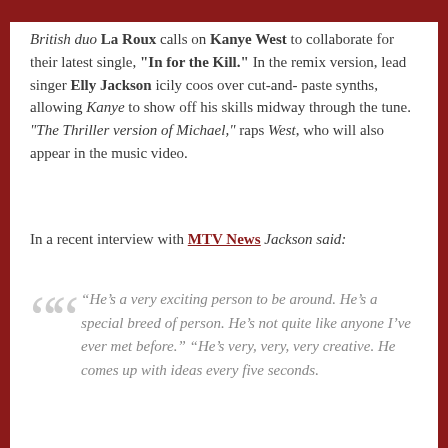[Figure (other): Dark red/maroon banner bar at the top of the page]
British duo La Roux calls on Kanye West to collaborate for their latest single, "In for the Kill." In the remix version, lead singer Elly Jackson icily coos over cut-and-paste synths, allowing Kanye to show off his skills midway through the tune. "The Thriller version of Michael," raps West, who will also appear in the music video.
In a recent interview with MTV News Jackson said:
“He’s a very exciting person to be around. He’s a special breed of person. He’s not quite like anyone I’ve ever met before.” “He’s very, very, very creative. He comes up with ideas every five seconds.